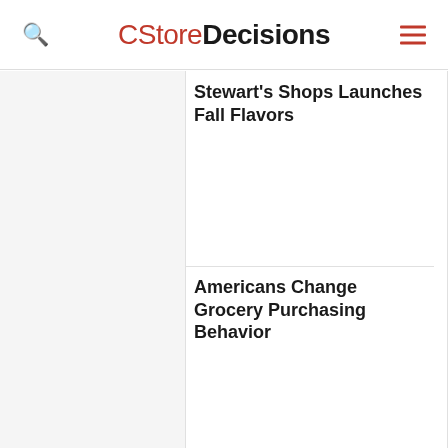CStoreDecisions
Stewart’s Shops Launches Fall Flavors
Americans Change Grocery Purchasing Behavior